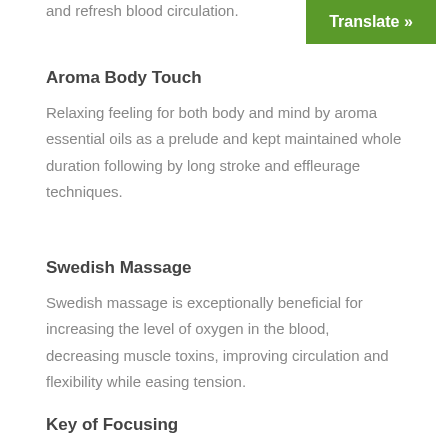and refresh blood circulation.
[Figure (other): Green Translate button with white bold text 'Translate »']
Aroma Body Touch
Relaxing feeling for both body and mind by aroma essential oils as a prelude and kept maintained whole duration following by long stroke and effleurage techniques.
Swedish Massage
Swedish massage is exceptionally beneficial for increasing the level of oxygen in the blood, decreasing muscle toxins, improving circulation and flexibility while easing tension.
Key of Focusing